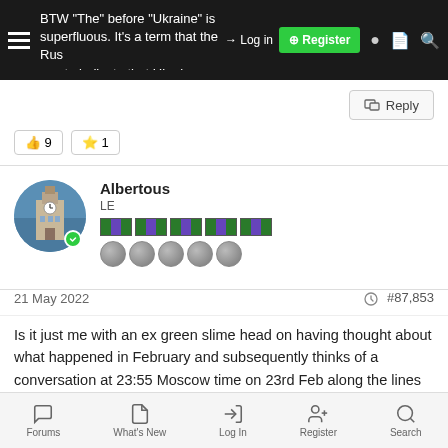BTW "The" before "Ukraine" is superfluous. It's a term that the Russians use to indicate that Ukraine belongs
Reply
👍 9  ⭐ 1
Albertous
LE
21 May 2022  #87,853
Is it just me with an ex green slime head on having thought about what happened in February and subsequently thinks of a conversation at 23:55 Moscow time on 23rd Feb along the lines of:
Putin: So tell me will the West really reaction to our special FSB GRU headsheds. No cross agent ABC. So... politician
Forums  What's New  Log In  Register  Search